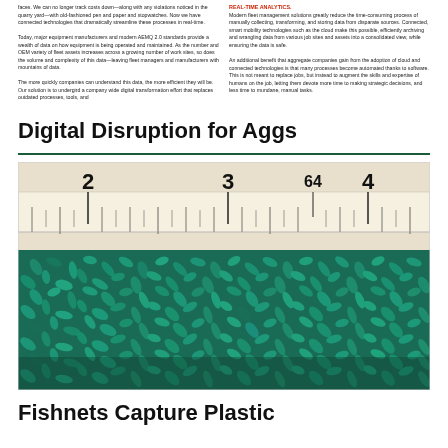faces. We can no longer track costs down—along with any violations noticed in the quarry yard—with old-fashioned pen and paper and stopwatches. Now we have connected technologies that dramatically streamline these processes in real-time.

Today, major equipment manufacturers and modern AEMQ 2.0 standards provide a wealth of data on how equipment is being operated and maintained. As the number and OEM variety of fleet assets increases across a growing number of work sites, so does the volume and complexity of this data—leaving fleet managers and manufacturers with mountains of data.

The more quickly companies can understand this data, the more efficient they will be. Our solution is to undergird a company wide digital transformation effort that replaces outdated processes, tools, and
REAL-TIME ANALYTICS.
Modern fleet management solutions greatly reduce the time-consuming process of manually collecting, transforming, and storing data from disparate sources. Connected, smart mobility technologies such as the cloud make this possible, efficiently archiving and wrangling data from various job sites and assets into a consolidated view, while ensuring the data is safe.

An additional benefit that aggregate companies gain from the adoption of cloud and connected technologies is that many processes become automated thanks to software. This is not meant to replace jobs, but instead to augment the skills and expertise of humans on the job, letting them devote more time to making strategic decisions, and less time to mundane, manual tasks.
Digital Disruption for Aggs
[Figure (photo): A composite image showing a ruler measuring aggregate material at the top (with inch marks 2, 3, 64, 4 visible) and a photograph of teal/green cylindrical plastic pellets or aggregate pieces piled together below.]
Fishnets Capture Plastic